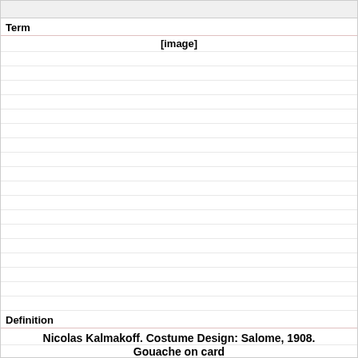Term
[Figure (other): [image]]
Definition
Nicolas Kalmakoff. Costume Design: Salome, 1908. Gouache on card